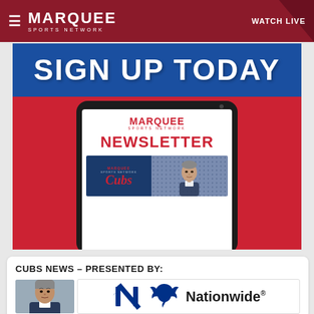Marquee Sports Network — WATCH LIVE
[Figure (screenshot): Marquee Sports Network website banner showing 'SIGN UP TODAY' newsletter promotion with tablet mockup displaying Marquee Sports Network Newsletter with Cubs and broadcaster imagery]
CUBS NEWS – PRESENTED BY:
[Figure (photo): Photo of a male broadcaster/analyst with grey hair on grey background, next to Nationwide insurance logo]
[Figure (logo): Nationwide insurance logo with eagle/dove bird mark and 'Nationwide' text with registered trademark symbol]